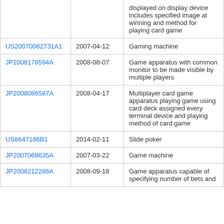| Publication | Date | Title |
| --- | --- | --- |
|  |  | displayed on display device includes specified image at winning and method for playing card game |
| US20070082731A1 | 2007-04-12 | Gaming machine |
| JP2008178594A | 2008-08-07 | Game apparatus with common monitor to be made visible by multiple players |
| JP2008086587A | 2008-04-17 | Multiplayer card game apparatus playing game using card deck assigned every terminal device and playing method of card game |
| US8647186B1 | 2014-02-11 | Slide poker |
| JP2007068635A | 2007-03-22 | Game machine |
| JP2008212286A | 2008-09-18 | Game apparatus capable of specifying number of bets and |